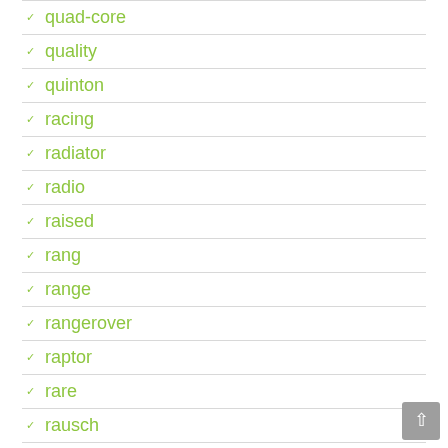quad-core
quality
quinton
racing
radiator
radio
raised
rang
range
rangerover
raptor
rare
rausch
real